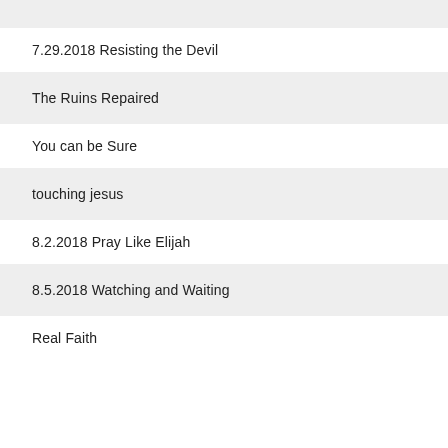7.29.2018 Resisting the Devil
The Ruins Repaired
You can be Sure
touching jesus
8.2.2018 Pray Like Elijah
8.5.2018 Watching and Waiting
Real Faith